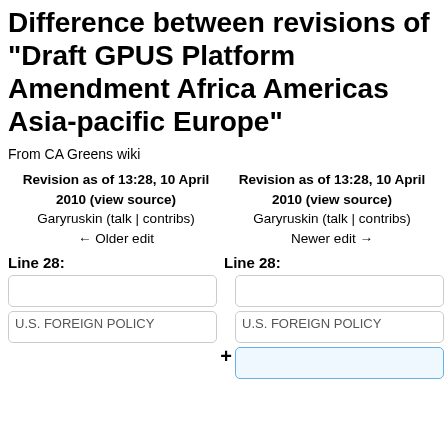Difference between revisions of "Draft GPUS Platform Amendment Africa Americas Asia-pacific Europe"
From CA Greens wiki
| Left revision | Right revision |
| --- | --- |
| Revision as of 13:28, 10 April 2010 (view source)
Garyruskin (talk | contribs)
← Older edit | Revision as of 13:28, 10 April 2010 (view source)
Garyruskin (talk | contribs)
Newer edit → |
Line 28:	Line 28:
|  |  |
| U.S. FOREIGN POLICY | U.S. FOREIGN POLICY |
|  |  |